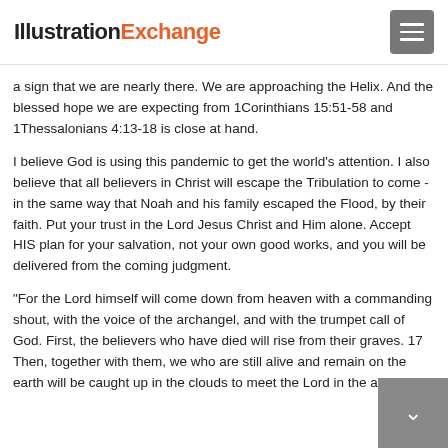IllustrationExchange
a sign that we are nearly there. We are approaching the Helix. And the blessed hope we are expecting from 1Corinthians 15:51-58 and 1Thessalonians 4:13-18 is close at hand.
I believe God is using this pandemic to get the world's attention. I also believe that all believers in Christ will escape the Tribulation to come - in the same way that Noah and his family escaped the Flood, by their faith. Put your trust in the Lord Jesus Christ and Him alone. Accept HIS plan for your salvation, not your own good works, and you will be delivered from the coming judgment.
"For the Lord himself will come down from heaven with a commanding shout, with the voice of the archangel, and with the trumpet call of God. First, the believers who have died will rise from their graves. 17 Then, together with them, we who are still alive and remain on the earth will be caught up in the clouds to meet the Lord in the air. Then